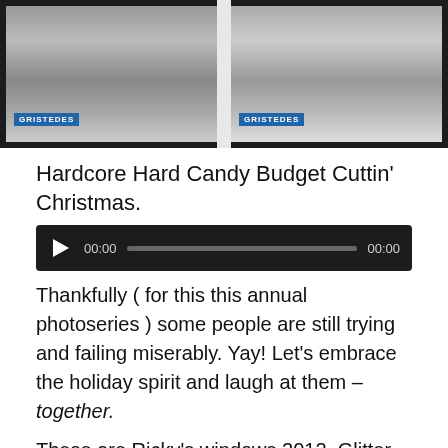[Figure (photo): Two framed black-and-white Gristedes store photographs on a wall with a light gray divider between them]
Hardcore Hard Candy Budget Cuttin’ Christmas.
[Figure (other): Audio player with play button, time display 00:00, progress bar, and end time 00:00 on a dark background]
Thankfully ( for this this annual photoseries ) some people are still trying and failing miserably. Yay! Let’s embrace the holiday spirit and laugh at them – together.
These are Ricky’s windows 2012. Glitter on a scrub puff.
[Figure (photo): Interior of a store with pendant lights hanging from dark ceiling, a necklace with pendant displayed, vertical dividers, and a blue screen in the background]